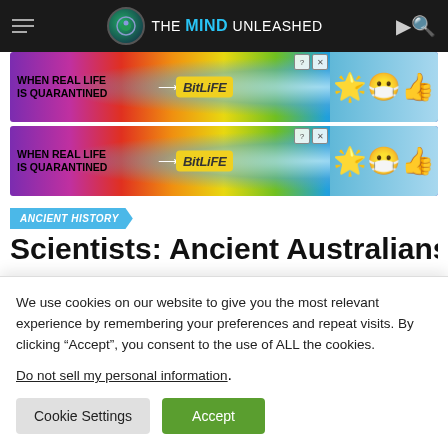THE MIND UNLEASHED
[Figure (photo): BitLife advertisement banner: 'WHEN REAL LIFE IS QUARANTINED' with rainbow and emoji graphics]
[Figure (photo): BitLife advertisement banner (duplicate): 'WHEN REAL LIFE IS QUARANTINED' with rainbow and emoji graphics]
ANCIENT HISTORY
Scientists: Ancient Australians
We use cookies on our website to give you the most relevant experience by remembering your preferences and repeat visits. By clicking “Accept”, you consent to the use of ALL the cookies.
Do not sell my personal information.